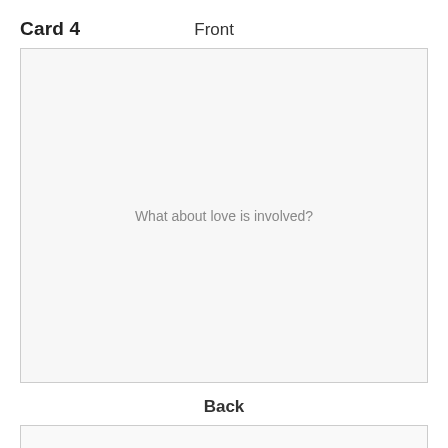Card 4   Front
What about love is involved?
Back